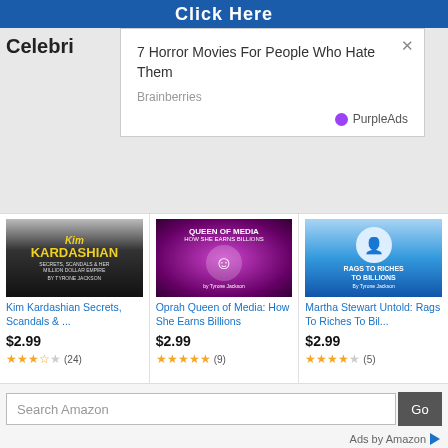[Figure (screenshot): Blue 'Click Here' button banner at top]
Celebri
[Figure (screenshot): Popup overlay: '7 Horror Movies For People Who Hate Them' from Brainberries, with PurpleAds label and close X button]
[Figure (screenshot): Kim Kardashian book cover: 'Kim Kardashian Secrets, Scandals & Her Million Dollar Empire by Tyrone Jackson']
Kim Kardashian Secrets, Scandals & ...
$2.99
(24)
[Figure (screenshot): Oprah book cover: 'Queen of Media How She Earns Billions by Tyrone Jackson']
Oprah Queen of Media: How She Earns Billions
$2.99
(9)
[Figure (screenshot): Martha Stewart book cover: 'Rags To Riches To Billions by Tyrone Jackson']
Martha Stewart Untold: Rags To Riches To Bil...
$2.99
(5)
Search Amazon
Ads by Amazon
Subscribe